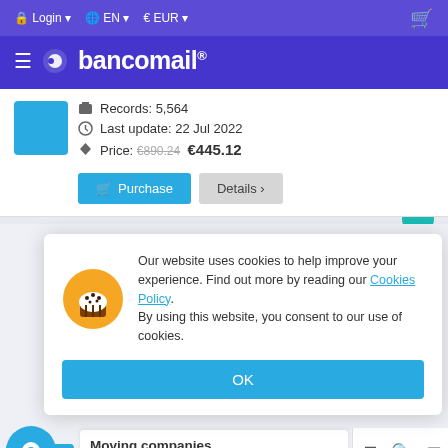Login  EN  EUR  (cart icon)
boncomail®
Records: 5,564
Last update: 22 Jul 2022
Price: €890.24  €445.12
Purchase   Details ›
[Figure (screenshot): Cookie consent popup with muffin icon. Text: Our website uses cookies to help improve your experience. Find out more by reading our Cookies Policy. By using this website, you consent to our use of cookies. OK button.]
Moving companies
Italy Sicilia